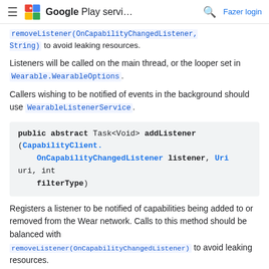Google Play servi... | Fazer login
removeListener(OnCapabilityChangedListener, String) to avoid leaking resources.
Listeners will be called on the main thread, or the looper set in Wearable.WearableOptions.
Callers wishing to be notified of events in the background should use WearableListenerService.
public abstract Task<Void> addListener (CapabilityClient.OnCapabilityChangedListener listener, Uri uri, int filterType)
Registers a listener to be notified of capabilities being added to or removed from the Wear network. Calls to this method should be balanced with removeListener(OnCapabilityChangedListener) to avoid leaking resources.